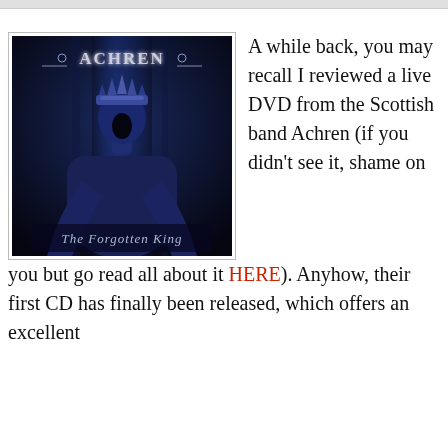[Figure (illustration): Album cover for Achren 'The Forgotten King' — dark blue illustration of a robed figure with a crown shouting, with the band name 'ACHREN' in metallic gothic lettering at top and 'The Forgotten King' in gothic script at bottom.]
A while back, you may recall I reviewed a live DVD from the Scottish band Achren (if you didn't see it, shame on you but go read all about it HERE). Anyhow, their first CD has finally been released, which offers an excellent